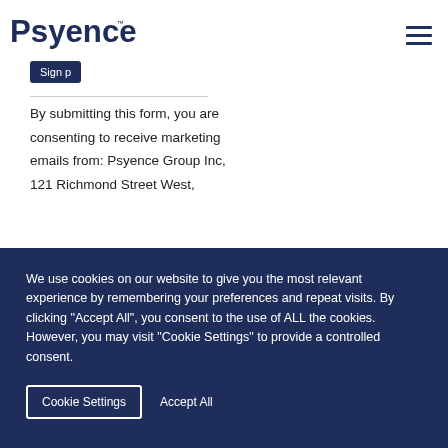[Figure (logo): Psyence logo in dark navy blue with trademark symbol]
By submitting this form, you are consenting to receive marketing emails from: Psyence Group Inc, 121 Richmond Street West,
We use cookies on our website to give you the most relevant experience by remembering your preferences and repeat visits. By clicking "Accept All", you consent to the use of ALL the cookies. However, you may visit "Cookie Settings" to provide a controlled consent.